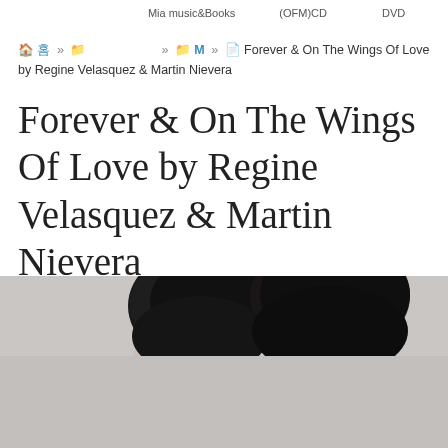Mia music&Books　　　　　(OFM)CD　　　　　　DVD
🏠 홈 » 📁 　　　　 » 📁 M » 📄 Forever & On The Wings Of Love by Regine Velasquez & Martin Nievera
Forever & On The Wings Of Love by Regine Velasquez & Martin Nievera
📅 2017년5월2일
👤 Mia music and Books
[Figure (photo): Photo of two people (a man and a woman) posing together with heads close, against a light gray background. Only the tops of their heads and hair are visible in the cropped image.]